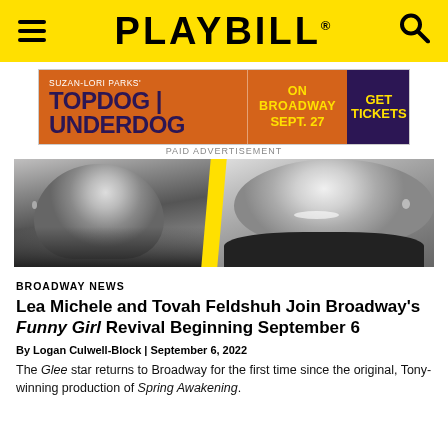PLAYBILL
[Figure (other): Advertisement banner for Suzan-Lori Parks' Topdog Underdog on Broadway Sept. 27 with GET TICKETS button]
PAID ADVERTISEMENT
[Figure (photo): Black and white split photo of two women (Lea Michele on left, Tovah Feldshuh on right) separated by a yellow diagonal stripe]
BROADWAY NEWS
Lea Michele and Tovah Feldshuh Join Broadway's Funny Girl Revival Beginning September 6
By Logan Culwell-Block | September 6, 2022
The Glee star returns to Broadway for the first time since the original, Tony-winning production of Spring Awakening.